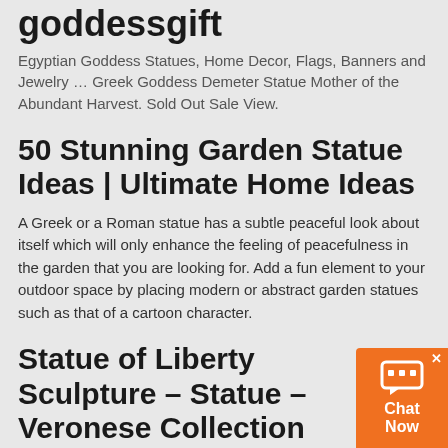goddessgift
Egyptian Goddess Statues, Home Decor, Flags, Banners and Jewelry … Greek Goddess Demeter Statue Mother of the Abundant Harvest. Sold Out Sale View.
50 Stunning Garden Statue Ideas | Ultimate Home Ideas
A Greek or a Roman statue has a subtle peaceful look about itself which will only enhance the feeling of peacefulness in the garden that you are looking for. Add a fun element to your outdoor space by placing modern or abstract garden statues such as that of a cartoon character.
Statue of Liberty Sculpture – Statue – Veronese Collection
Statue of Liberty Sculpture. This sculpture is a finely crafted, highly detailed work of art from the Veronese
[Figure (other): Orange chat widget button with speech bubble icon and 'Chat Now' label, with X close button]